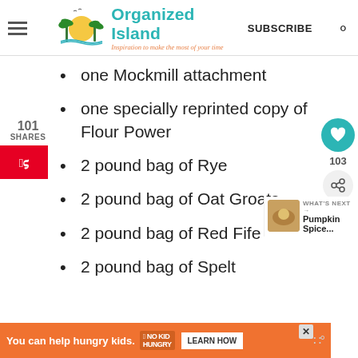Organized Island — Inspiration to make the most of your time — SUBSCRIBE
one Mockmill attachment
one specially reprinted copy of Flour Power
2 pound bag of Rye
2 pound bag of Oat Groats
2 pound bag of Red Fife
2 pound bag of Spelt